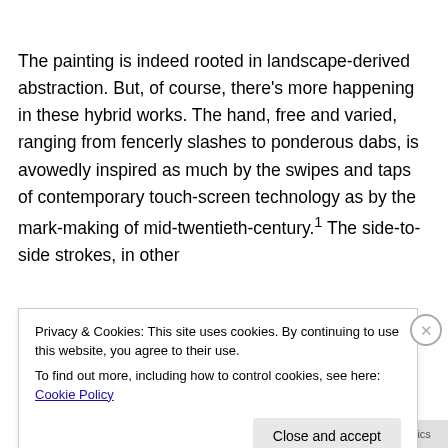The painting is indeed rooted in landscape-derived abstraction. But, of course, there's more happening in these hybrid works. The hand, free and varied, ranging from fencerly slashes to ponderous dabs, is avowedly inspired as much by the swipes and taps of contemporary touch-screen technology as by the mark-making of mid-twentieth-century.¹ The side-to-side strokes, in other
Privacy & Cookies: This site uses cookies. By continuing to use this website, you agree to their use.
To find out more, including how to control cookies, see here: Cookie Policy
[Figure (screenshot): Bottom bar showing website navigation with blue background and white text, and a gray section on the right]